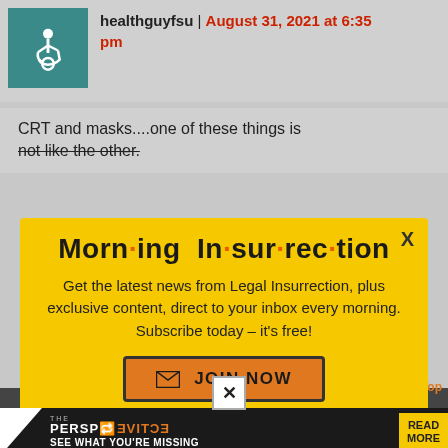healthguyfsu | August 31, 2021 at 6:35 pm
CRT and masks....one of these things is not like the other.
[Figure (infographic): Morning Insurrection newsletter popup modal with yellow background. Title: Morning Insurrection with orange dots between syllables. Text: Get the latest news from Legal Insurrection, plus exclusive content, direct to your inbox every morning. Subscribe today - it's free! Button: JOIN NOW with envelope icon. X close button in top right.]
[Figure (infographic): The Perspective advertisement bar at bottom: white triangle, THE PERSPECTIVE title with orange letters, SEE WHAT YOU'RE MISSING subtitle, READ MORE button in yellow.]